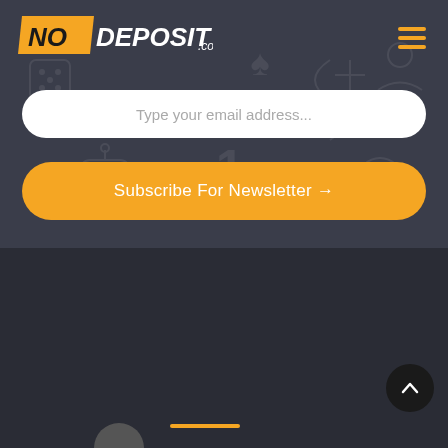[Figure (logo): NODeposit.com logo with orange NO on dark background, hamburger menu icon in orange]
Type your email address...
Subscribe For Newsletter →
[Figure (logo): Payment method logos: Mastercard, VISA, PayPal, Skrill, NETELLER, Norton Secured]
[Figure (logo): Back to top arrow button (dark circle with up arrow)]